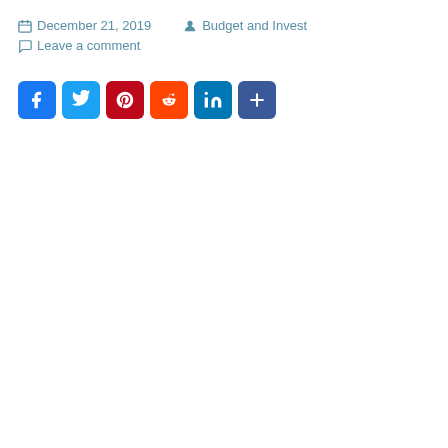December 21, 2019   Budget and Invest
Leave a comment
[Figure (other): Social sharing buttons: Facebook, Twitter, Pinterest, Reddit, LinkedIn, Share more]